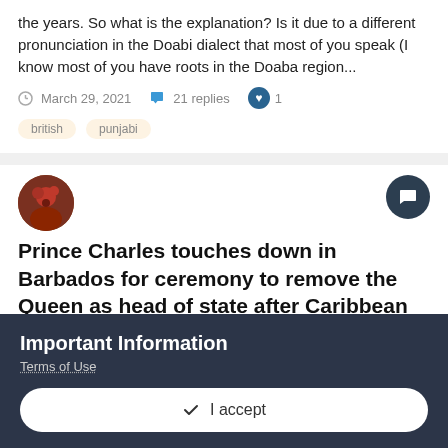the years. So what is the explanation? Is it due to a different pronunciation in the Doabi dialect that most of you speak (I know most of you have roots in the Doaba region...
March 29, 2021   21 replies   1
british   punjabi
[Figure (illustration): Circular avatar image of a user profile photo showing a person in dark/red tones]
[Figure (illustration): Dark circular button with a speech bubble / comment icon]
Prince Charles touches down in Barbados for ceremony to remove the Queen as head of state after Caribbean nation decided to become a republic
dallysingh101 posted a topic in POLITICS | LIFESTYLE
Important Information
Terms of Use
I accept